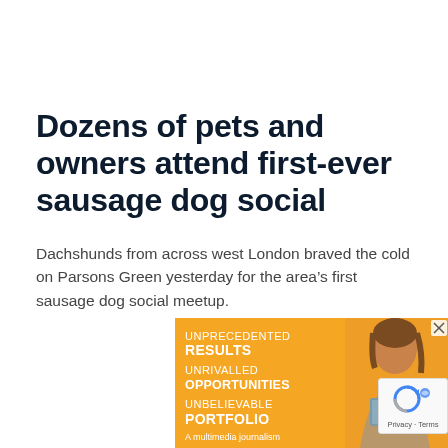Dozens of pets and owners attend first-ever sausage dog social
Dachshunds from across west London braved the cold on Parsons Green yesterday for the area’s first sausage dog social meetup.
[Figure (infographic): Orange advertisement banner with text: UNPRECEDENTED RESULTS / UNRIVALLED OPPORTUNITIES / UNBELIEVABLE PORTFOLIO / A multimedia journalism... with a smiling woman holding a folder on the right side. An X close button in the top-right corner.]